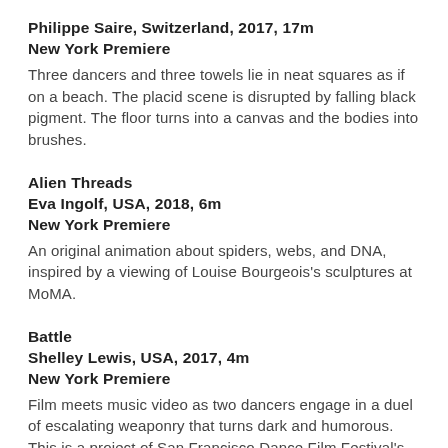Philippe Saire, Switzerland, 2017, 17m
New York Premiere
Three dancers and three towels lie in neat squares as if on a beach. The placid scene is disrupted by falling black pigment. The floor turns into a canvas and the bodies into brushes.
Alien Threads
Eva Ingolf, USA, 2018, 6m
New York Premiere
An original animation about spiders, webs, and DNA, inspired by a viewing of Louise Bourgeois's sculptures at MoMA.
Battle
Shelley Lewis, USA, 2017, 4m
New York Premiere
Film meets music video as two dancers engage in a duel of escalating weaponry that turns dark and humorous. This is a project of San Francisco Dance Film Festival's Co-Laboratory, in which filmmakers and